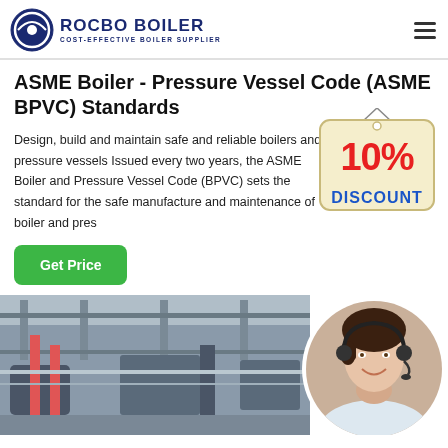ROCBO BOILER - COST-EFFECTIVE BOILER SUPPLIER
ASME Boiler - Pressure Vessel Code (ASME BPVC) Standards
Design, build and maintain safe and reliable boilers and pressure vessels Issued every two years, the ASME Boiler and Pressure Vessel Code (BPVC) sets the standard for the safe manufacture and maintenance of boiler and pres...
[Figure (illustration): 10% Discount tag - a hanging price tag with '10%' in red and 'DISCOUNT' in blue on cream/tan background]
[Figure (photo): Industrial boiler facility interior showing pipes, equipment and metal framework]
[Figure (photo): Customer service agent woman with headset smiling, circular crop]